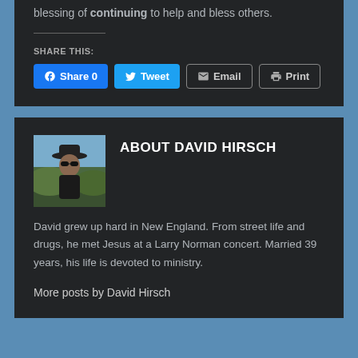blessing of continuing to help and bless others.
SHARE THIS:
Share 0 | Tweet | Email | Print
ABOUT DAVID HIRSCH
[Figure (photo): Author photo of David Hirsch wearing a hat and sunglasses outdoors]
David grew up hard in New England. From street life and drugs, he met Jesus at a Larry Norman concert. Married 39 years, his life is devoted to ministry.
More posts by David Hirsch